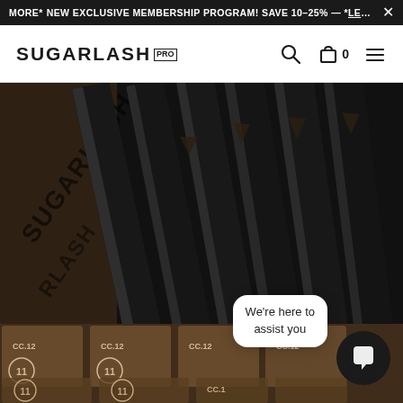MORE* NEW EXCLUSIVE MEMBERSHIP PROGRAM! SAVE 10-25% — *LEARN X
SUGARLASH PRO
[Figure (photo): Close-up photo of Sugarlash Pro eyelash extension trays arranged in rows on a dark brown/black holder. The trays show labels reading CC.12 and circled numbers 11. Black eyelash fans are fanned out from the strips. A chat bubble overlay reads 'We're here to assist you' with a chat icon button.]